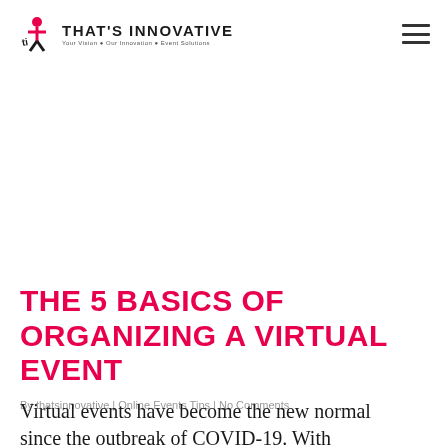THAT'S INNOVATIVE — Your Vision • Our Innovation • Event Solutions
THE 5 BASICS OF ORGANIZING A VIRTUAL EVENT
By thatsinnovative | Online Events Tips | No Comments
Virtual events have become the new normal since the outbreak of COVID-19. With...